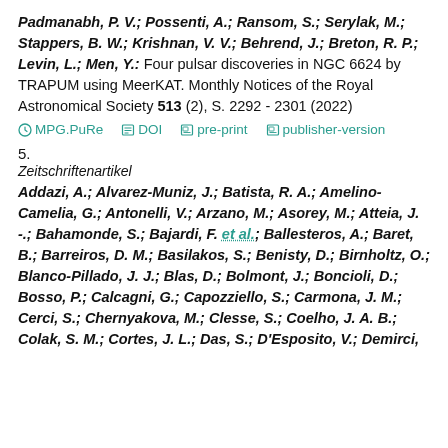Padmanabh, P. V.; Possenti, A.; Ransom, S.; Serylak, M.; Stappers, B. W.; Krishnan, V. V.; Behrend, J.; Breton, R. P.; Levin, L.; Men, Y.: Four pulsar discoveries in NGC 6624 by TRAPUM using MeerKAT. Monthly Notices of the Royal Astronomical Society 513 (2), S. 2292 - 2301 (2022)
MPG.PuRe   DOI   pre-print   publisher-version
5.
Zeitschriftenartikel
Addazi, A.; Alvarez-Muniz, J.; Batista, R. A.; Amelino-Camelia, G.; Antonelli, V.; Arzano, M.; Asorey, M.; Atteia, J. -.; Bahamonde, S.; Bajardi, F. et al.; Ballesteros, A.; Baret, B.; Barreiros, D. M.; Basilakos, S.; Benisty, D.; Birnholtz, O.; Blanco-Pillado, J. J.; Blas, D.; Bolmont, J.; Boncioli, D.; Bosso, P.; Calcagni, G.; Capozziello, S.; Carmona, J. M.; Cerci, S.; Chernyakova, M.; Clesse, S.; Coelho, J. A. B.; Colak, S. M.; Cortes, J. L.; Das, S.; D'Esposito, V.; Demirci,